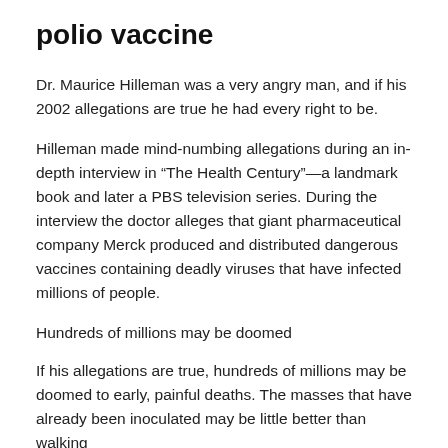polio vaccine
Dr. Maurice Hilleman was a very angry man, and if his 2002 allegations are true he had every right to be.
Hilleman made mind-numbing allegations during an in-depth interview in “The Health Century”—a landmark book and later a PBS television series. During the interview the doctor alleges that giant pharmaceutical company Merck produced and distributed dangerous vaccines containing deadly viruses that have infected millions of people.
Hundreds of millions may be doomed
If his allegations are true, hundreds of millions may be doomed to early, painful deaths. The masses that have already been inoculated may be little better than walking